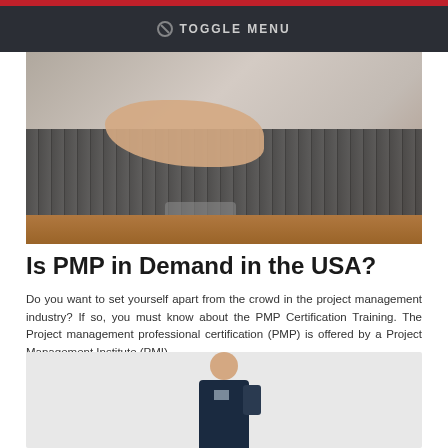TOGGLE MENU
[Figure (photo): Person's hands typing on a laptop keyboard, viewed from above, with a wooden table visible]
Is PMP in Demand in the USA?
Do you want to set yourself apart from the crowd in the project management industry? If so, you must know about the PMP Certification Training. The Project management professional certification (PMP) is offered by a Project Management Institute (PMI).
16 JUNE, 2022
[Figure (photo): Young man standing, wearing a dark navy sweatshirt with grey stripe detail across shoulders, carrying a backpack]